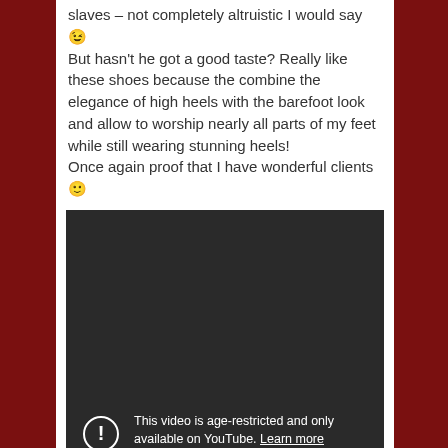slaves – not completely altruistic I would say 😉 But hasn't he got a good taste? Really like these shoes because the combine the elegance of high heels with the barefoot look and allow to worship nearly all parts of my feet while still wearing stunning heels! Once again proof that I have wonderful clients 🙂
[Figure (screenshot): Embedded YouTube video player showing an age-restricted video. Dark background with a circle exclamation icon and text: 'This video is age-restricted and only available on YouTube. Learn more' and 'Watch on YouTube']